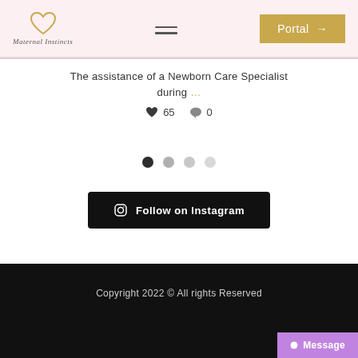Maternal Instincts — Portal
The assistance of a Newborn Care Specialist during …
❤ 65  💬 0
[Figure (other): Carousel pagination dots: four circles, first dark, rest gray]
[Figure (other): Upward chevron arrow in circle button]
Follow on Instagram
Copyright 2022 © All rights Reserved